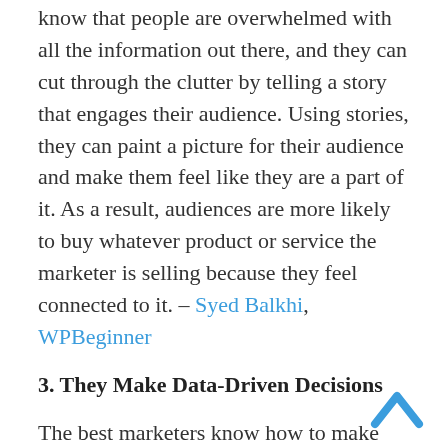know that people are overwhelmed with all the information out there, and they can cut through the clutter by telling a story that engages their audience. Using stories, they can paint a picture for their audience and make them feel like they are a part of it. As a result, audiences are more likely to buy whatever product or service the marketer is selling because they feel connected to it. – Syed Balkhi, WPBeginner
3. They Make Data-Driven Decisions
The best marketers know how to make data-driven decisions. Not only do they love crunching numbers, but they also like building a story to communicate said numbers effectively. The best marketers keep an eye out for the trends and analyze them critically. It reflects an active effort to understand the target demographic. What